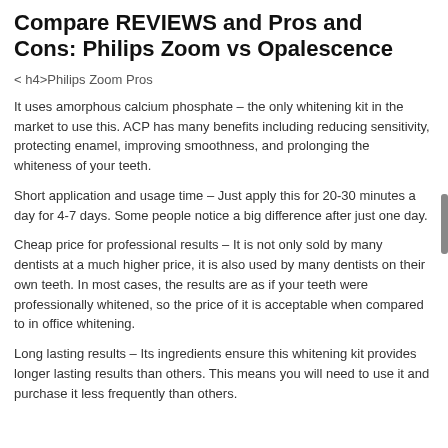Compare REVIEWS and Pros and Cons: Philips Zoom vs Opalescence
< h4>Philips Zoom Pros
It uses amorphous calcium phosphate – the only whitening kit in the market to use this. ACP has many benefits including reducing sensitivity, protecting enamel, improving smoothness, and prolonging the whiteness of your teeth.
Short application and usage time – Just apply this for 20-30 minutes a day for 4-7 days. Some people notice a big difference after just one day.
Cheap price for professional results – It is not only sold by many dentists at a much higher price, it is also used by many dentists on their own teeth. In most cases, the results are as if your teeth were professionally whitened, so the price of it is acceptable when compared to in office whitening.
Long lasting results – Its ingredients ensure this whitening kit provides longer lasting results than others. This means you will need to use it and purchase it less frequently than others.